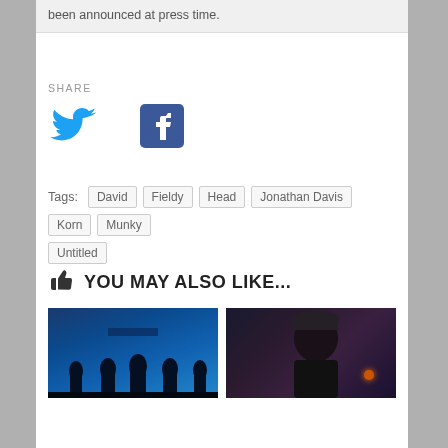been announced at press time.
SHARE
[Figure (illustration): Twitter bird icon (blue) and Facebook logo icon (dark blue), social sharing buttons]
Tags: David  Fieldy  Head  Jonathan Davis  Korn  Munky  Untitled
YOU MAY ALSO LIKE...
[Figure (photo): Band silhouettes on stage with blue lighting]
[Figure (photo): Person with dark beanie hat, dark background with small orange/red light]